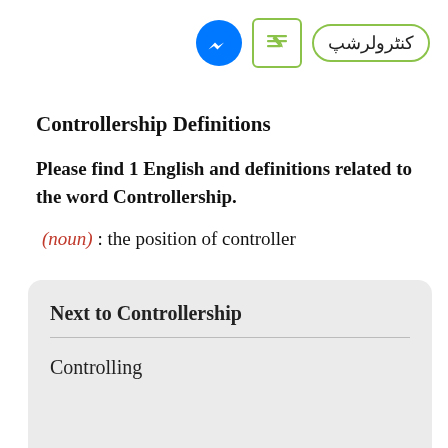[Figure (logo): Facebook Messenger logo, a green edit/pencil icon in a rounded square border, and a rounded rectangle badge with Urdu text 'کنٹرولرشپ' in olive green border]
Controllership Definitions
Please find 1 English and definitions related to the word Controllership.
(noun): the position of controller
Next to Controllership
Controlling